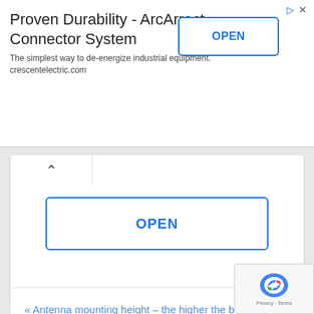[Figure (screenshot): Advertisement banner: Proven Durability - ArcArrect Connector System with OPEN button and ad controls]
[Figure (screenshot): Expanded ad card with collapse arrow tab and large OPEN button]
« Antenna mounting height – the higher the better?
Why Are Antennas Built to Look Like They Do? »
Leave a comment
Your email address will not be published. Required fields are